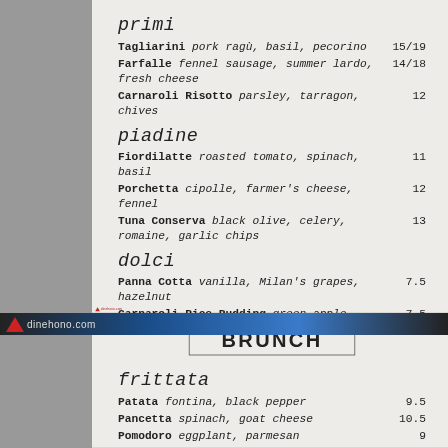primi
Tagliarini  pork ragù, basil, pecorino  15/19
Farfalle  fennel sausage, summer lardo, fresh cheese  14/18
Carnaroli Risotto  parsley, tarragon, chives  12
piadine
Fiordilatte  roasted tomato, spinach, basil  11
Porchetta  cipolle, farmer's cheese, fennel  12
Tuna Conserva  black olive, celery, romaine, garlic chips  13
dolci
Panna Cotta  vanilla, Milan's grapes, hazelnut  7.5
Carnaroli Rice Pudding  green apple, almond  7.5
Nutella Tart  chocolate & frangelico  7.5
Formaggi  house selection of three Italian cheeses  10.5
Campagnolo concept is rustic country in design. Inspired by recipes from the Pielmonte and Emiglia-Romagna regions, our menu uses the best of products from Italy and from in and around the lower mainland. Please relax and enjoy!
BRUNCH
frittata
Patata  fontina, black pepper  9.5
Pancetta  spinach, goat cheese  10.5
Pomodoro  eggplant, parmesan  9
colazione
Sunny Side Up Eggs  salsiccia, salsa verde  11.5